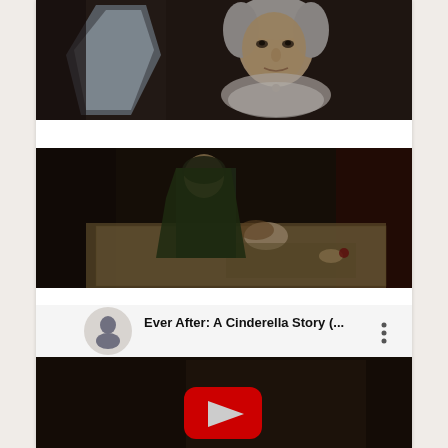[Figure (photo): Elderly woman with grey hair looking forward, wearing a white lace outfit, partially in shadow, film still]
[Figure (photo): Dark scene of a person lying in bed with patterned bedding, another figure leaning over them, film still]
[Figure (screenshot): YouTube video thumbnail for 'Ever After: A Cinderella Story (...' with circular channel icon showing a figure, three-dot menu icon, and red YouTube play button overlay on a dark ornate background]